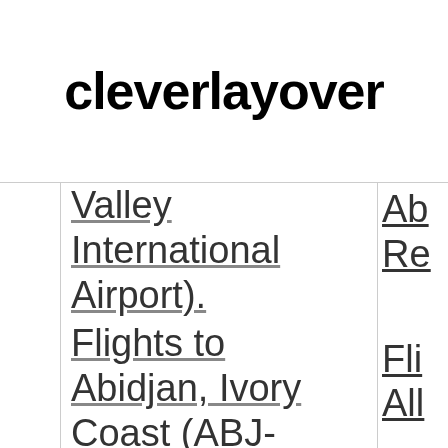cleverlayover
| Valley International Airport). Flights to Abidjan, Ivory Coast (ABJ- | Ab Re Fli All |